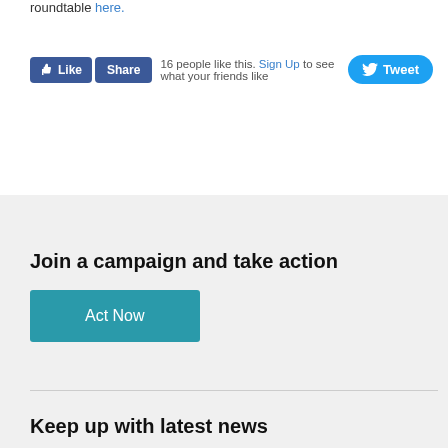roundtable here.
[Figure (screenshot): Facebook Like and Share buttons with '16 people like this. Sign Up to see what your friends like.' text, and a Twitter Tweet button]
Join a campaign and take action
[Figure (other): Teal 'Act Now' button]
Keep up with latest news